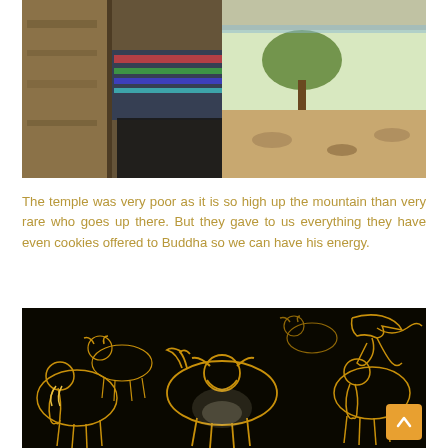[Figure (photo): A person standing near a stone wall/column outdoors, wearing a colorful patterned shirt. Sandy ground and rocks visible in background.]
The temple was very poor as it is so high up the mountain than very rare who goes up there. But they gave to us everything they have even cookies offered to Buddha so we can have his energy.
[Figure (photo): A dark black surface decorated with gold/yellow painted outlines of animals including bulls/cattle, elephants, and birds in a traditional Asian decorative style.]